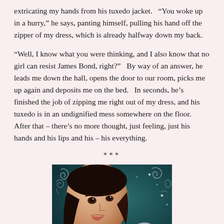extricating my hands from his tuxedo jacket.  “You woke up in a hurry,” he says, panting himself, pulling his hand off the zipper of my dress, which is already halfway down my back.
“Well, I know what you were thinking, and I also know that no girl can resist James Bond, right?”  By way of an answer, he leads me down the hall, opens the door to our room, picks me up again and deposits me on the bed.  In seconds, he’s finished the job of zipping me right out of my dress, and his tuxedo is in an undignified mess somewhere on the floor.  After that – there’s no more thought, just feeling, just his hands and his lips and his – his everything.
***
[Figure (illustration): A young woman with dark hair looking upward, with decorative swirl designs and a moon/orb in the lower right, set against a teal/dark background. Book cover style illustration.]